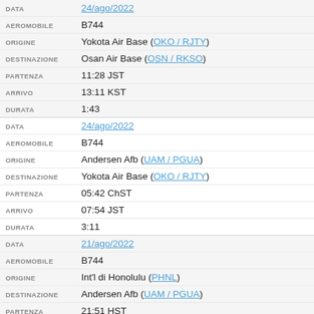| DATA | 24/ago/2022 |
| AEROMOBILE | B744 |
| ORIGINE | Yokota Air Base (OKO / RJTY) |
| DESTINAZIONE | Osan Air Base (OSN / RKSO) |
| PARTENZA | 11:28 JST |
| ARRIVO | 13:11 KST |
| DURATA | 1:43 |
| DATA | 24/ago/2022 |
| AEROMOBILE | B744 |
| ORIGINE | Andersen Afb (UAM / PGUA) |
| DESTINAZIONE | Yokota Air Base (OKO / RJTY) |
| PARTENZA | 05:42 ChST |
| ARRIVO | 07:54 JST |
| DURATA | 3:11 |
| DATA | 21/ago/2022 |
| AEROMOBILE | B744 |
| ORIGINE | Int'l di Honolulu (PHNL) |
| DESTINAZIONE | Andersen Afb (UAM / PGUA) |
| PARTENZA | 21:51 HST |
| ARRIVO | 00:42 ChST (+2) |
| DURATA | 6:5? |